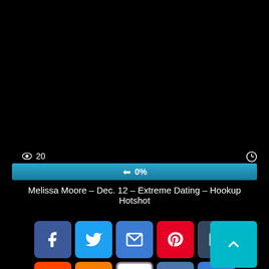[Figure (screenshot): Black video player area]
👁 20
🕐
[Figure (infographic): Blue progress bar showing 👍 0%]
Melissa Moore – Dec. 12 – Extreme Dating – Hookup Hotshot
[Figure (infographic): Social share icons: Facebook, Twitter, Email, Pinterest, Tumblr, Reddit, Blogger, WordPress, VK, More; and a scroll-to-top button]